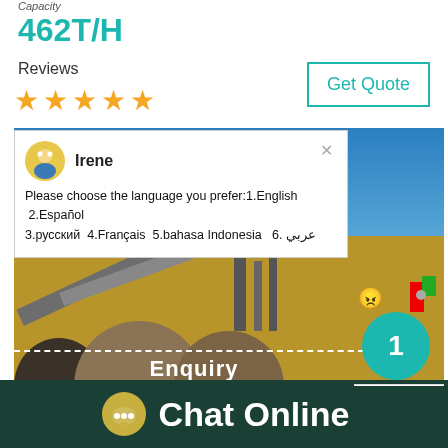Capacity
462T/H
Reviews
★ ★ ★ ★ ★
Get Quote
[Figure (photo): Industrial quarry/mining crushing plant with conveyor belts and aggregate piles under blue sky, with chat popup overlay showing multilingual greeting from agent Irene]
Irene
Please choose the language you prefer:1.English  2.Español  3.русский  4.Français  5.bahasa Indonesia   6. عربي
Click me to chat >>
Enquiry
Chat Online